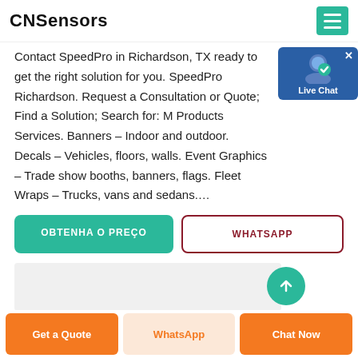CNSensors
Contact SpeedPro in Richardson, TX ready to get the right solution for you. SpeedPro Richardson. Request a Consultation or Quote; Find a Solution; Search for: M Products Services. Banners – Indoor and outdoor. Decals – Vehicles, floors, walls. Event Graphics – Trade show booths, banners, flags. Fleet Wraps – Trucks, vans and sedans....
[Figure (other): Live Chat badge with user icon and checkmark]
OBTENHA O PREÇO
WHATSAPP
[Figure (other): Gray content area with teal circle button]
Get a Quote
WhatsApp
Chat Now